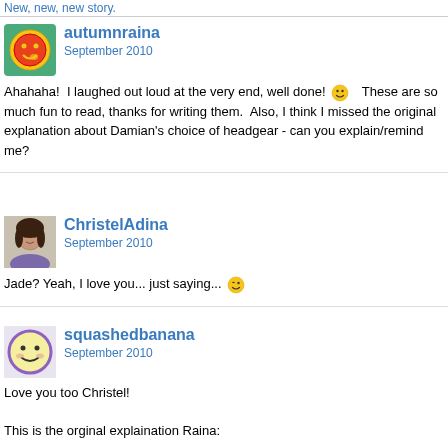New, new, new story.
autumnraina
September 2010
Ahahaha!  I laughed out loud at the very end, well done! 🙂  These are so much fun to read, thanks for writing them.  Also, I think I missed the original explanation about Damian's choice of headgear - can you explain/remind me?
ChristelAdina
September 2010
Jade? Yeah, I love you... just saying... 😉
squashedbanana
September 2010
Love you too Christel!

This is the orginal explaination Raina:

"Zombie Damian likes to scare people, whether they are human or zombie it doesn't matter. If it's human he LOVES to mumble and say brains and walk towards them menacingly (even though he doesn't eat humans…or brains). He likes to scare Tim a lot.